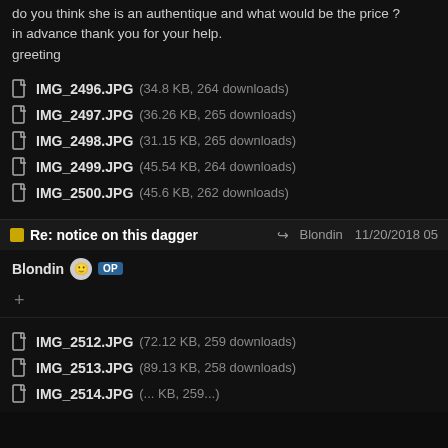do you think she is an authentique and what would be the price ? in advance thank you for your help. greeting
IMG_2496.JPG (34.8 KB, 264 downloads)
IMG_2497.JPG (36.26 KB, 265 downloads)
IMG_2498.JPG (31.15 KB, 265 downloads)
IMG_2499.JPG (45.54 KB, 264 downloads)
IMG_2500.JPG (45.6 KB, 262 downloads)
Re: notice on this dagger   Blondin  11/20/2018 05
Blondin  OP
+
IMG_2512.JPG (72.12 KB, 259 downloads)
IMG_2513.JPG (89.13 KB, 258 downloads)
IMG_2514.JPG (... KB, 259...)